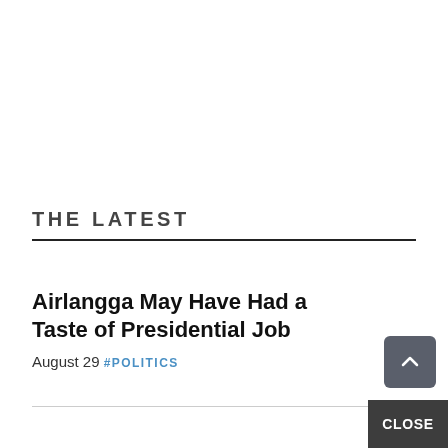THE LATEST
Airlangga May Have Had a Taste of Presidential Job
August 29 #POLITICS